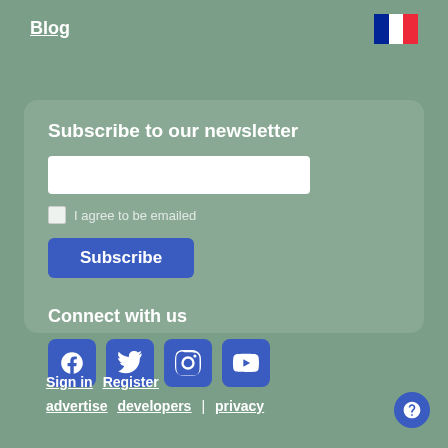Blog
[Figure (illustration): French flag (tricolore) — blue, white, red vertical stripes]
Subscribe to our newsletter
I agree to be emailed
Subscribe
Connect with us
[Figure (infographic): Four social media icon buttons: Facebook, Twitter, Instagram, YouTube]
Sign in  Register  advertise  developers  |  privacy